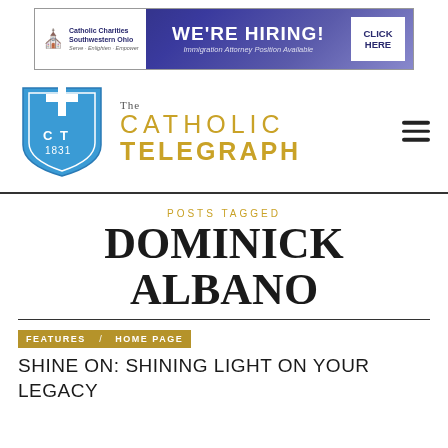[Figure (other): Catholic Charities Southwestern Ohio banner ad: WE'RE HIRING! Immigration Attorney Position Available. CLICK HERE button.]
[Figure (logo): The Catholic Telegraph logo: blue shield with cross and CT 1831, with CATHOLIC TELEGRAPH in gold text]
POSTS TAGGED
DOMINICK ALBANO
FEATURES / HOME PAGE
SHINE ON: SHINING LIGHT ON YOUR LEGACY